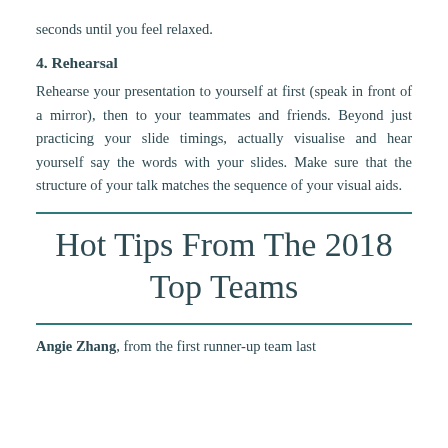seconds until you feel relaxed.
4. Rehearsal
Rehearse your presentation to yourself at first (speak in front of a mirror), then to your teammates and friends. Beyond just practicing your slide timings, actually visualise and hear yourself say the words with your slides. Make sure that the structure of your talk matches the sequence of your visual aids.
Hot Tips From The 2018 Top Teams
Angie Zhang, from the first runner-up team last